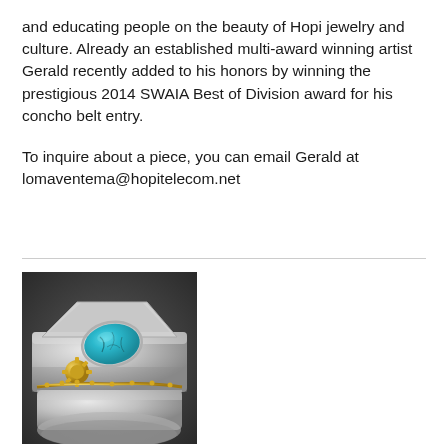and educating people on the beauty of Hopi jewelry and culture. Already an established multi-award winning artist Gerald recently added to his honors by winning the prestigious 2014 SWAIA Best of Division award for his concho belt entry.

To inquire about a piece, you can email Gerald at lomaventema@hopitelecom.net
[Figure (photo): Close-up photograph of a silver and gold Hopi cuff bracelet featuring a turquoise stone with dark matrix veining, set in a silver bezel with gold decorative elements and a geometric silver overlay design.]